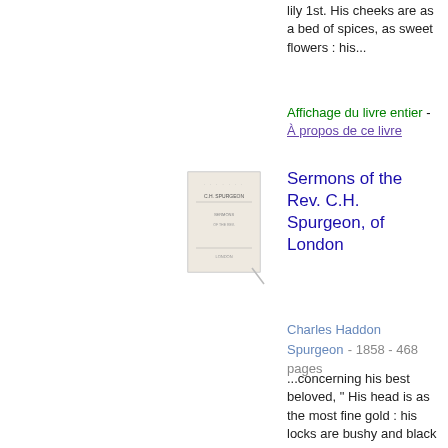lily 1st. His cheeks are as a bed of spices, as sweet flowers : his...
Affichage du livre entier - À propos de ce livre
[Figure (photo): Thumbnail of book cover for Sermons of the Rev. C.H. Spurgeon, of London]
Sermons of the Rev. C.H. Spurgeon, of London
Charles Haddon Spurgeon - 1858 - 468 pages
...concerning his best beloved, " His head is as the most fine gold : his locks are bushy and black as a raven. His eyes are as the eyes of doves by the